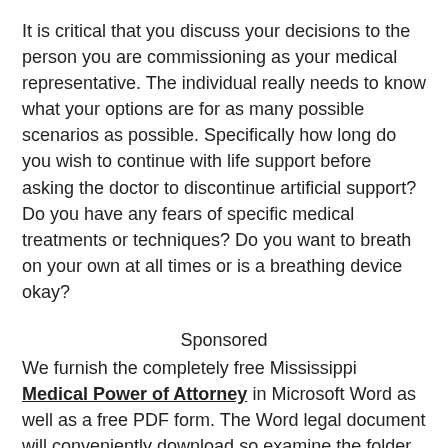It is critical that you discuss your decisions to the person you are commissioning as your medical representative. The individual really needs to know what your options are for as many possible scenarios as possible. Specifically how long do you wish to continue with life support before asking the doctor to discontinue artificial support? Do you have any fears of specific medical treatments or techniques? Do you want to breath on your own at all times or is a breathing device okay?
Sponsored
We furnish the completely free Mississippi Medical Power of Attorney in Microsoft Word as well as a free PDF form. The Word legal document will conveniently download so examine the folder where downloads are usually saved on your computer or mobile device. The PDF will open in an unique browser window so you can print or download it.